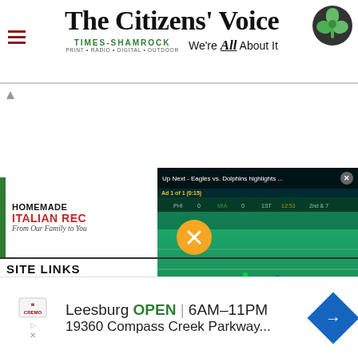The Citizens' Voice — Times-Shamrock. Print • Radio • Digital • Outdoor. We're All About It
[Figure (screenshot): Video overlay showing Eagles vs. Dolphins highlights, NFL game footage with green field, players; Ad 1 of 1 (0:15) label, mute button, close button]
[Figure (advertisement): Homemade Italian Recipes - From Our Family to You, green left border]
SITE LINKS
[Figure (advertisement): Cremo advertisement: Leesburg OPEN 6AM-11PM 19360 Compass Creek Parkway...]